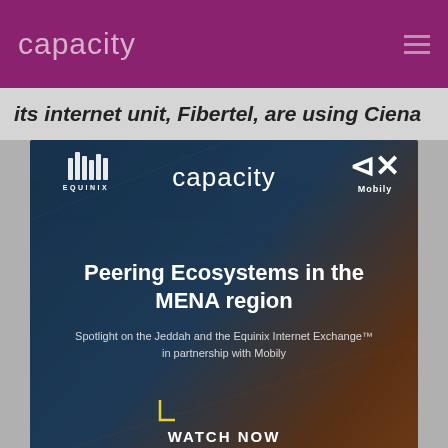capacity
its internet unit, Fibertel, are using Ciena
[Figure (infographic): Webinar advertisement banner for 'Peering Ecosystems in the MENA region' - Spotlight on the Jeddah and the Equinix Internet Exchange in partnership with Mobily. Features Equinix, Capacity, and Mobily logos. Shows 'WATCH NOW' button with yellow bracket, 'WEBINAR NOW AVAILABLE ON-DEMAND' text, hosted by Kamal Al-Taef Equinix, Thomas Afadda Mobily, Martin Atkinson Equinix, Mohammed Alasnor Mobily. Background is dark blue fading to orange.]
WATCH NOW FOR FREE >>
of transport and network
operator
I AGREE